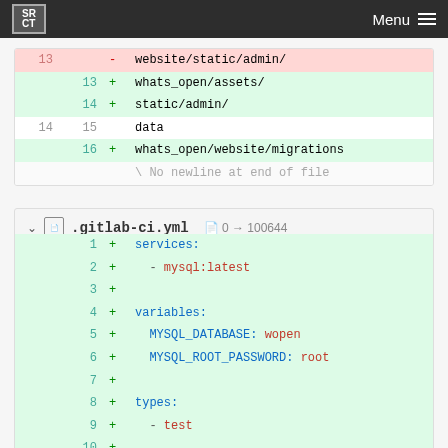SRCT | Menu
| old | new | sign | content |
| --- | --- | --- | --- |
| 13 |  | - | website/static/admin/ |
|  | 13 | + | whats_open/assets/ |
|  | 14 | + | static/admin/ |
| 14 | 15 |  | data |
|  | 16 | + | whats_open/website/migrations |
|  |  |  | \ No newline at end of file |
.gitlab-ci.yml  0 → 100644
| old | new | sign | content |
| --- | --- | --- | --- |
|  | 1 | + | services: |
|  | 2 | + |   - mysql:latest |
|  | 3 | + |  |
|  | 4 | + | variables: |
|  | 5 | + |   MYSQL_DATABASE: wopen |
|  | 6 | + |   MYSQL_ROOT_PASSWORD: root |
|  | 7 | + |  |
|  | 8 | + | types: |
|  | 9 | + |   - test |
|  | 10 | + |  |
|  | 11 | + | before_script: |